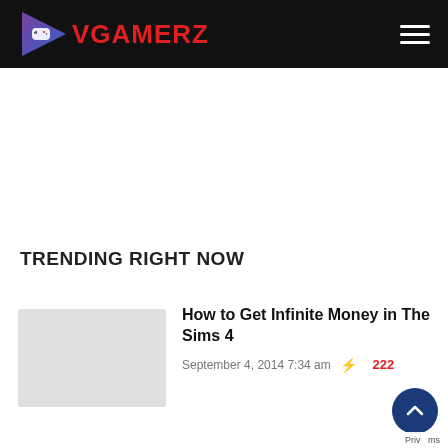VGAMERZ
TRENDING RIGHT NOW
How to Get Infinite Money in The Sims 4
September 4, 2014 7:34 am ⚡ 222